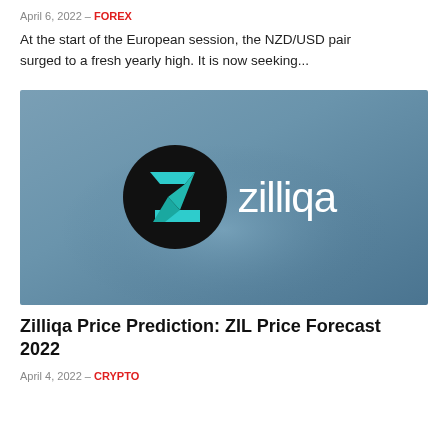April 6, 2022 – FOREX
At the start of the European session, the NZD/USD pair surged to a fresh yearly high. It is now seeking...
[Figure (logo): Zilliqa brand image with circular black logo containing teal Z chevron symbol and white 'zilliqa' text on a blue-grey gradient background]
Zilliqa Price Prediction: ZIL Price Forecast 2022
April 4, 2022 – CRYPTO